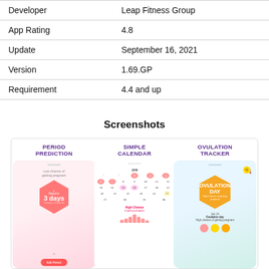| Field | Value |
| --- | --- |
| Developer | Leap Fitness Group |
| App Rating | 4.8 |
| Update | September 16, 2021 |
| Version | 1.69.GP |
| Requirement | 4.4 and up |
Screenshots
[Figure (screenshot): Three app screenshots: Period Prediction showing 'Period in 3 days' with pink hexagon UI, Simple Calendar showing a January calendar with highlighted dates and 'High Chance of getting pregnant' text, and Ovulation Tracker showing an orange hexagon with 'Ovulation Day' and 'High Chance of getting pregnant' text]